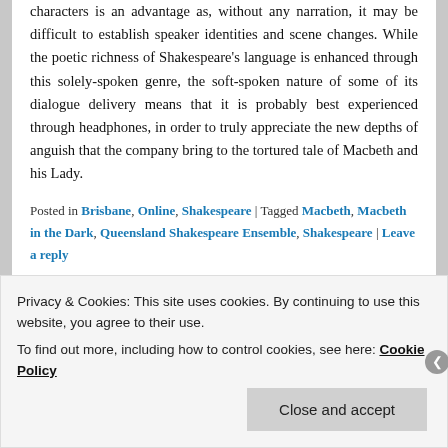characters is an advantage as, without any narration, it may be difficult to establish speaker identities and scene changes. While the poetic richness of Shakespeare's language is enhanced through this solely-spoken genre, the soft-spoken nature of some of its dialogue delivery means that it is probably best experienced through headphones, in order to truly appreciate the new depths of anguish that the company bring to the tortured tale of Macbeth and his Lady.
Posted in Brisbane, Online, Shakespeare | Tagged Macbeth, Macbeth in the Dark, Queensland Shakespeare Ensemble, Shakespeare | Leave a reply
Privacy & Cookies: This site uses cookies. By continuing to use this website, you agree to their use.
To find out more, including how to control cookies, see here: Cookie Policy